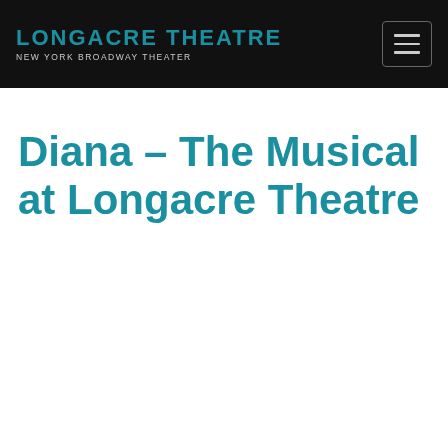LONGACRE THEATRE NEW YORK BROADWAY THEATER
Diana – The Musical at Longacre Theatre